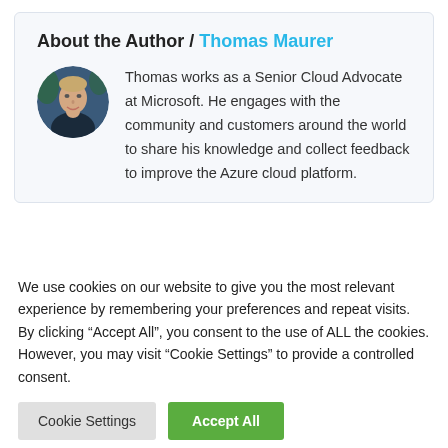About the Author / Thomas Maurer
[Figure (photo): Circular headshot photo of Thomas Maurer, a man in a dark jacket against a blurred background]
Thomas works as a Senior Cloud Advocate at Microsoft. He engages with the community and customers around the world to share his knowledge and collect feedback to improve the Azure cloud platform.
We use cookies on our website to give you the most relevant experience by remembering your preferences and repeat visits. By clicking “Accept All”, you consent to the use of ALL the cookies. However, you may visit “Cookie Settings” to provide a controlled consent.